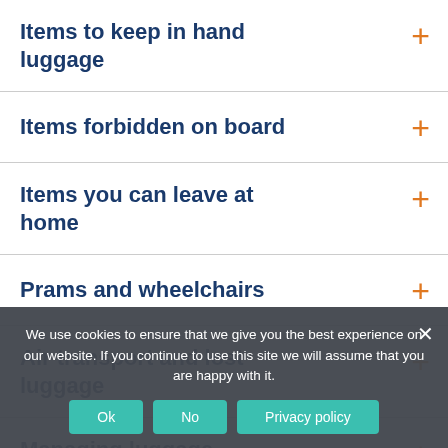Items to keep in hand luggage
Items forbidden on board
Items you can leave at home
Prams and wheelchairs
Air transport and lost luggage
Managing luggage during boarding and
We use cookies to ensure that we give you the best experience on our website. If you continue to use this site we will assume that you are happy with it.